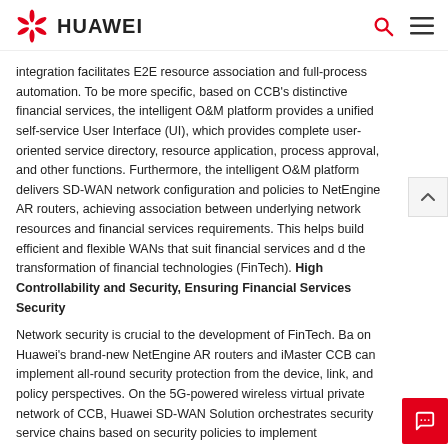HUAWEI
integration facilitates E2E resource association and full-process automation. To be more specific, based on CCB's distinctive financial services, the intelligent O&M platform provides a unified self-service User Interface (UI), which provides complete user-oriented service directory, resource application, process approval, and other functions. Furthermore, the intelligent O&M platform delivers SD-WAN network configuration and policies to NetEngine AR routers, achieving association between underlying network resources and financial services requirements. This helps build efficient and flexible WANs that suit financial services and d the transformation of financial technologies (FinTech). High Controllability and Security, Ensuring Financial Services Security
Network security is crucial to the development of FinTech. Ba on Huawei's brand-new NetEngine AR routers and iMaster CCB can implement all-round security protection from the device, link, and policy perspectives. On the 5G-powered wireless virtual private network of CCB, Huawei SD-WAN Solution orchestrates security service chains based on security policies to implement